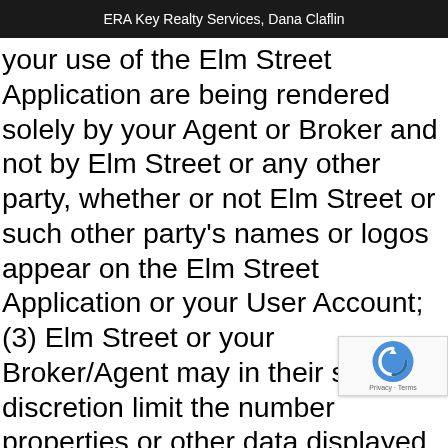ERA Key Realty Services, Dana Claflin
your use of the Elm Street Application are being rendered solely by your Agent or Broker and not by Elm Street or any other party, whether or not Elm Street or such other party’s names or logos appear on the Elm Street Application or your User Account; (3) Elm Street or your Broker/Agent may in their sole discretion limit the number properties or other data displayed to you in response to your search requests, as well as limit the amount of information displayed to you about such properties or data; (4) all of your activity on the Elm Street Application may be viewed, accessed, and tracked by Elm Street for business purposes subject to Elm Street’s Privacy Policy, which is incorporated herein by reference; and (5) subject to